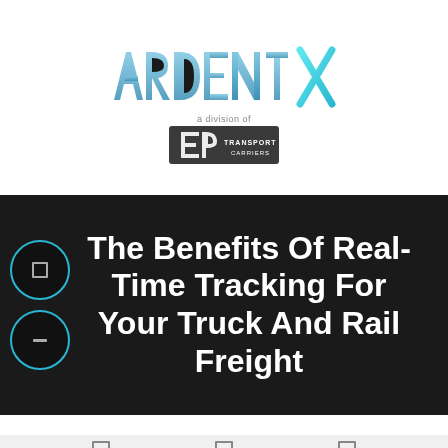[Figure (logo): ArdentX logo - stylized blue text with X shape, subtitle 'a division of' with EP Transport Carriers logo below]
The Benefits Of Real-Time Tracking For Your Truck And Rail Freight
[Figure (other): Footer navigation bar with three icon buttons on light grey background]